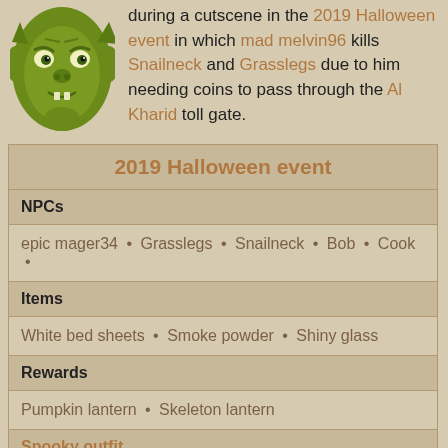during a cutscene in the 2019 Halloween event in which mad melvin96 kills Snailneck and Grasslegs due to him needing coins to pass through the Al Kharid toll gate.
| 2019 Halloween event |
| --- |
| NPCs |
| epic mager34 • Grasslegs • Snailneck • Bob • Cook • |
| Items |
| White bed sheets • Smoke powder • Shiny glass |
| Rewards |
| Pumpkin lantern • Skeleton lantern |
| Spooky outfit |